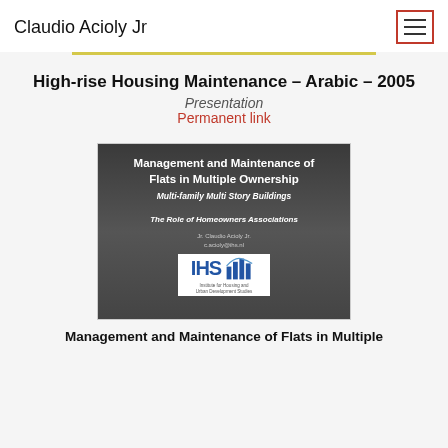Claudio Acioly Jr
High-rise Housing Maintenance - Arabic - 2005
Presentation
Permanent link
[Figure (screenshot): Slide thumbnail showing a presentation titled 'Management and Maintenance of Flats in Multiple Ownership' with subtitle 'Multi-family Multi Story Buildings' and 'The Role of Homeowners Associations', author Jr. Claudio Acioly Jr., with IHS institute logo.]
Management and Maintenance of Flats in Multiple